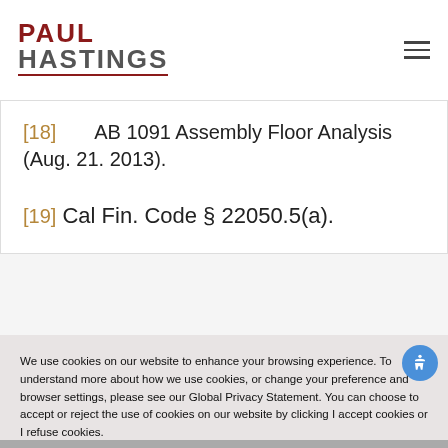Paul Hastings
[18]   AB 1091 Assembly Floor Analysis (Aug. 21. 2013).
[19] Cal Fin. Code § 22050.5(a).
We use cookies on our website to enhance your browsing experience. To understand more about how we use cookies, or change your preference and browser settings, please see our Global Privacy Statement. You can choose to accept or reject the use of cookies on our website by clicking I accept cookies or I refuse cookies.

Please note that if you choose to reject cookies, doing so may impair some of our website's functionality.